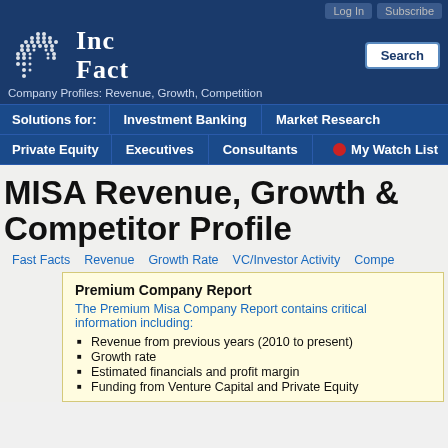Log In  Subscribe
[Figure (logo): IncFact logo with dot-matrix arrow pattern and serif text 'Inc Fact']
Company Profiles: Revenue, Growth, Competition
Solutions for:  Investment Banking  Market Research  Private Equity  Executives  Consultants  My Watch List
MISA Revenue, Growth & Competitor Profile
Fast Facts  Revenue  Growth Rate  VC/Investor Activity  Compe...
Premium Company Report
The Premium Misa Company Report contains critical information including:
Revenue from previous years (2010 to present)
Growth rate
Estimated financials and profit margin
Funding from Venture Capital and Private Equity